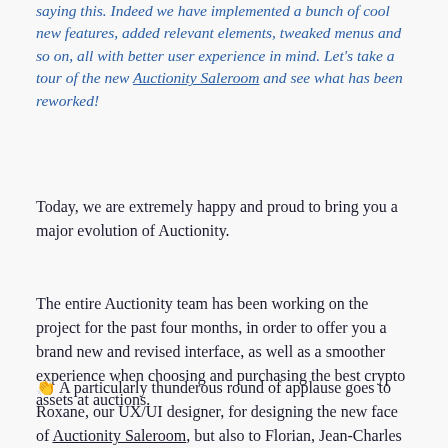saying this. Indeed we have implemented a bunch of cool new features, added relevant elements, tweaked menus and so on, all with better user experience in mind. Let's take a tour of the new Auctionity Saleroom and see what has been reworked!
Today, we are extremely happy and proud to bring you a major evolution of Auctionity.
The entire Auctionity team has been working on the project for the past four months, in order to offer you a brand new and revised interface, as well as a smoother experience when choosing and purchasing the best crypto assets at auctions.
👏 A particularly thunderous round of applause goes to Roxane, our UX/UI designer, for designing the new face of Auctionity Saleroom, but also to Florian, Jean-Charles & Camille for bringing it to life